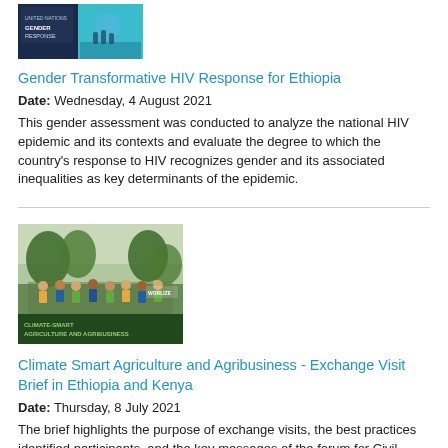[Figure (photo): Thumbnail image for Gender Transformative HIV Response for Ethiopia report cover, dark blue and teal background]
Gender Transformative HIV Response for Ethiopia
Date: Wednesday, 4 August 2021
This gender assessment was conducted to analyze the national HIV epidemic and its contexts and evaluate the degree to which the country's response to HIV recognizes gender and its associated inequalities as key determinants of the epidemic.
[Figure (photo): Group photo of participants outdoors with Climate-Smart Agriculture and Agribusiness text overlay at the bottom]
Climate Smart Agriculture and Agribusiness - Exchange Visit Brief in Ethiopia and Kenya
Date: Thursday, 8 July 2021
The brief highlights the purpose of exchange visits, the best practices identified participants, and the key messages of the forum for Civil Society. The main aim of the visits was to get